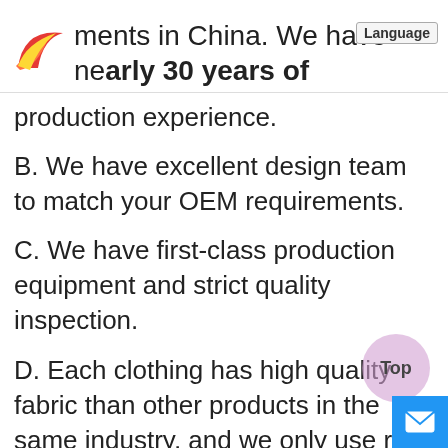garments in China. We have nearly 30 years of production experience.
B. We have excellent design team to match your OEM requirements.
C. We have first-class production equipment and strict quality inspection.
D. Each clothing has high quality fabric than other products in the same industry, and we only use raw materials that meet international environmental standards.
E. We ensure that each clothing has an...